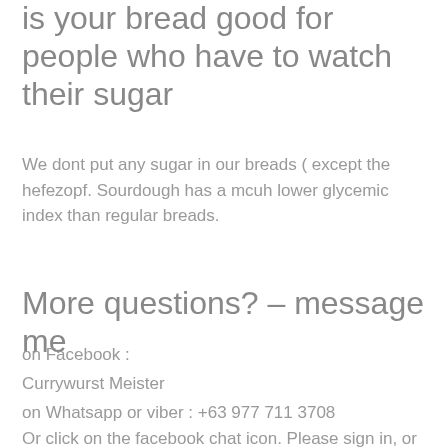is your bread good for people who have to watch their sugar
We dont put any sugar in our breads ( except the hefezopf. Sourdough has a mcuh lower glycemic index than regular breads.
More questions? –  message me
on Facebook :
Currywurst Meister
on Whatsapp or viber : +63 977 711 3708
Or click on the facebook chat icon. Please sign in, or leave your email address so I can contact you if I am